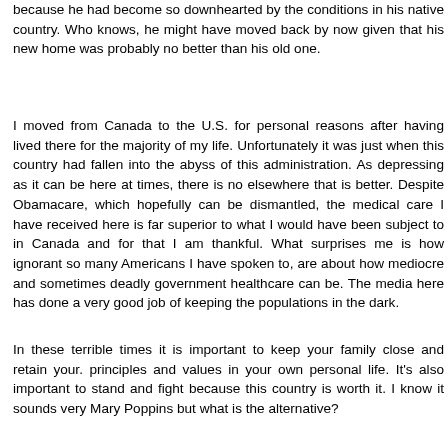because he had become so downhearted by the conditions in his native country. Who knows, he might have moved back by now given that his new home was probably no better than his old one.
I moved from Canada to the U.S. for personal reasons after having lived there for the majority of my life. Unfortunately it was just when this country had fallen into the abyss of this administration. As depressing as it can be here at times, there is no elsewhere that is better. Despite Obamacare, which hopefully can be dismantled, the medical care I have received here is far superior to what I would have been subject to in Canada and for that I am thankful. What surprises me is how ignorant so many Americans I have spoken to, are about how mediocre and sometimes deadly government healthcare can be. The media here has done a very good job of keeping the populations in the dark.
In these terrible times it is important to keep your family close and retain your. principles and values in your own personal life. It's also important to stand and fight because this country is worth it. I know it sounds very Mary Poppins but what is the alternative?